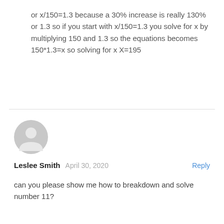or x/150=1.3 because a 30% increase is really 130% or 1.3 so if you start with x/150=1.3 you solve for x by multiplying 150 and 1.3 so the equations becomes 150*1.3=x so solving for x X=195
[Figure (illustration): Grey circular default user avatar icon]
Leslee Smith   April 30, 2020   Reply
can you please show me how to breakdown and solve number 11?